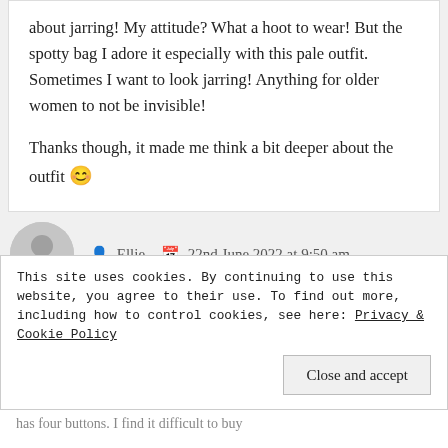about jarring! My attitude? What a hoot to wear! But the spotty bag I adore it especially with this pale outfit. Sometimes I want to look jarring! Anything for older women to not be invisible!

Thanks though, it made me think a bit deeper about the outfit 😊
Ellie  22nd June 2022 at 9:50 am
This site uses cookies. By continuing to use this website, you agree to their use. To find out more, including how to control cookies, see here: Privacy & Cookie Policy
Close and accept
has four buttons. I find it difficult to buy